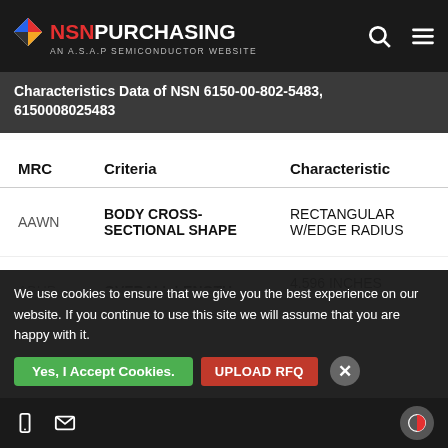NSN PURCHASING - AN A.S.A.P SEMICONDUCTOR WEBSITE
Characteristics Data of NSN 6150-00-802-5483, 6150008025483
| MRC | Criteria | Characteristic |
| --- | --- | --- |
| AAWN | BODY CROSS-SECTIONAL SHAPE | RECTANGULAR W/EDGE RADIUS |
| ABHP | OVERALL LENGTH | 4.596 INCHES NOMINAL |
| ADVN | CROSS-SECTIONAL HEIGHT | 0.032 INCHES NOMINAL |
| ADVY | CROSS-SECTIONAL WIDTH | 0.350 INCHES NOMINAL |
We use cookies to ensure that we give you the best experience on our website. If you continue to use this site we will assume that you are happy with it.
Yes, I Accept Cookies. | UPLOAD RFQ